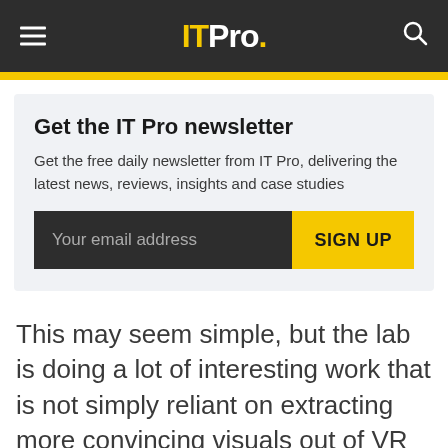IT Pro.
Get the IT Pro newsletter
Get the free daily newsletter from IT Pro, delivering the latest news, reviews, insights and case studies
This may seem simple, but the lab is doing a lot of interesting work that is not simply reliant on extracting more convincing visuals out of VR hardware but making virtual environments more